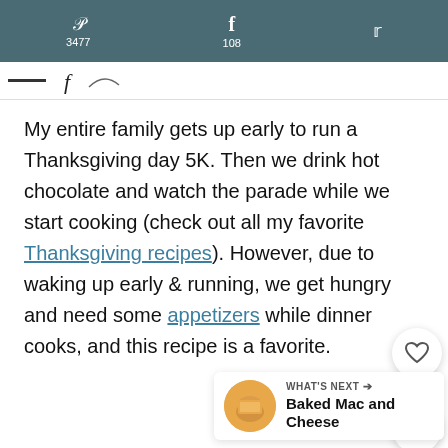Pinterest 3477  Facebook 108  Twitter
My entire family gets up early to run a Thanksgiving day 5K. Then we drink hot chocolate and watch the parade while we start cooking (check out all my favorite Thanksgiving recipes). However, due to waking up early & running, we get hungry and need some appetizers while dinner cooks, and this recipe is a favorite.
WHAT'S NEXT → Baked Mac and Cheese